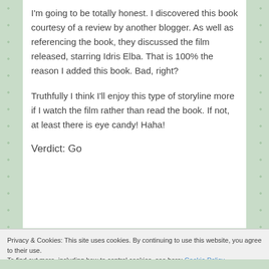I'm going to be totally honest. I discovered this book courtesy of a review by another blogger. As well as referencing the book, they discussed the film released, starring Idris Elba. That is 100% the reason I added this book. Bad, right?

Truthfully I think I'll enjoy this type of storyline more if I watch the film rather than read the book. If not, at least there is eye candy! Haha!
Verdict: Go
Privacy & Cookies: This site uses cookies. By continuing to use this website, you agree to their use.
To find out more, including how to control cookies, see here: Cookie Policy